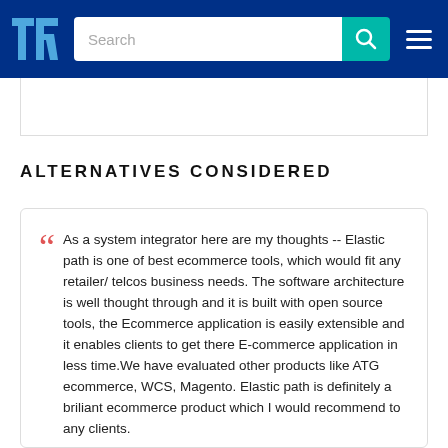TrustRadius - Search
ALTERNATIVES CONSIDERED
As a system integrator here are my thoughts -- Elastic path is one of best ecommerce tools, which would fit any retailer/ telcos business needs. The software architecture is well thought through and it is built with open source tools, the Ecommerce application is easily extensible and it enables clients to get there E-commerce application in less time.We have evaluated other products like ATG ecommerce, WCS, Magento. Elastic path is definitely a briliant ecommerce product which I would recommend to any clients.